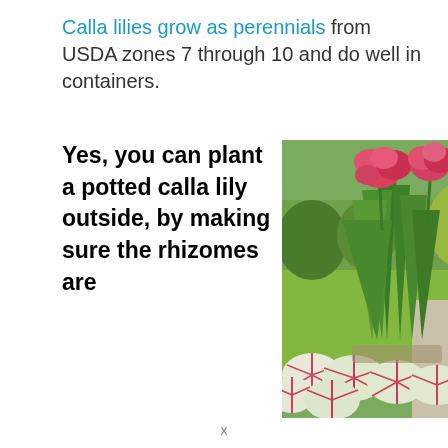Calla lilies grow as perennials from USDA zones 7 through 10 and do well in containers.
Yes, you can plant a potted calla lily outside, by making sure the rhizomes are
[Figure (photo): A potted container garden featuring tall green canna lily plants with bright pink/red flowers at the top, surrounded by caladium plants with white and pink heart-shaped leaves, set on a patio with a green lawn in the background.]
x